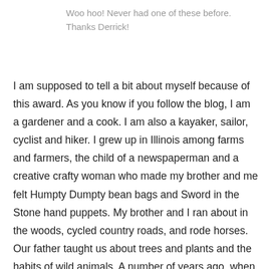Woo hoo! Never had one of these before. Thanks Derrick!
I am supposed to tell a bit about myself because of this award. As you know if you follow the blog, I am a gardener and a cook. I am also a kayaker, sailor, cyclist and hiker. I grew up in Illinois among farms and farmers, the child of a newspaperman and a creative crafty woman who made my brother and me felt Humpty Dumpty bean bags and Sword in the Stone hand puppets. My brother and I ran about in the woods, cycled country roads, and rode horses. Our father taught us about trees and plants and the habits of wild animals. A number of years ago, when he was already elderly, we were standing on a river bank after a cousin's wedding and someone said, “Uncle Johnnie, what is that stuff?” pointing to a vigorous colony of… something. Dad looked at it for a moment and then